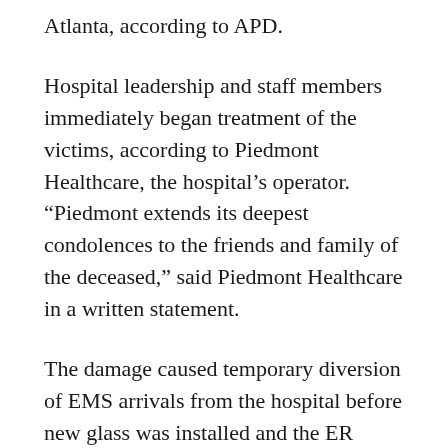Atlanta, according to APD.
Hospital leadership and staff members immediately began treatment of the victims, according to Piedmont Healthcare, the hospital's operator. “Piedmont extends its deepest condolences to the friends and family of the deceased,” said Piedmont Healthcare in a written statement.
The damage caused temporary diversion of EMS arrivals from the hospital before new glass was installed and the ER entrance reopened, according to Piedmont Healthcare.